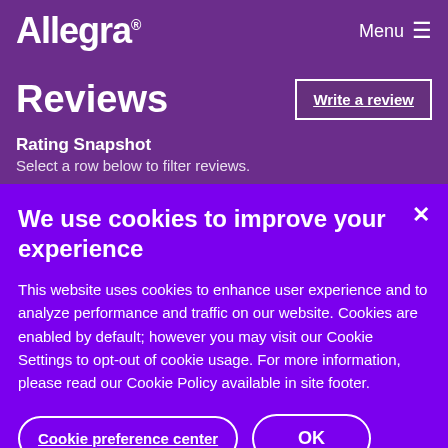Allegra    Menu ☰
Reviews
Write a review
Rating Snapshot
Select a row below to filter reviews.
We use cookies to improve your experience
This website uses cookies to enhance user experience and to analyze performance and traffic on our website. Cookies are enabled by default; however you may visit our Cookie Settings to opt-out of cookie usage. For more information, please read our Cookie Policy available in site footer.
Cookie preference center
OK